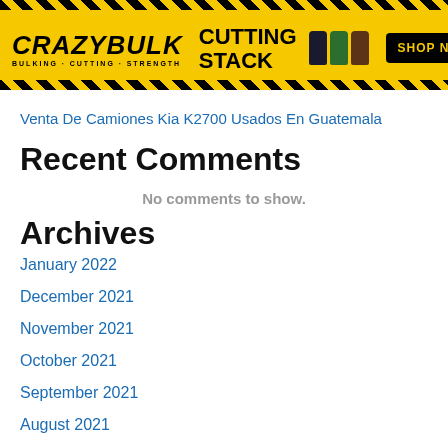[Figure (other): CrazyBulk Cutting Stack advertisement banner with yellow background, hazard stripes, supplement bottles, and SHOP NOW button]
Venta De Camiones Kia K2700 Usados En Guatemala
Recent Comments
No comments to show.
Archives
January 2022
December 2021
November 2021
October 2021
September 2021
August 2021
July 2021